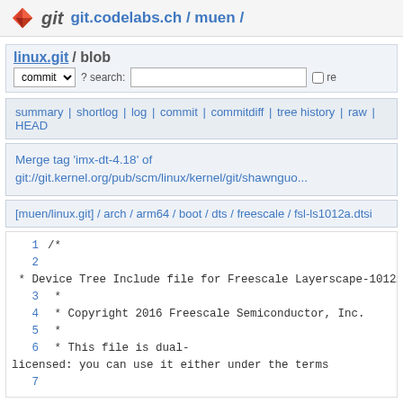git  git.codelabs.ch / muen /
linux.git / blob
commit  ? search:   re
summary | shortlog | log | commit | commitdiff | tree history | raw | HEAD
Merge tag 'imx-dt-4.18' of git://git.kernel.org/pub/scm/linux/kernel/git/shawnguo...
[muen/linux.git] / arch / arm64 / boot / dts / freescale / fsl-ls1012a.dtsi
1 /*
2
 * Device Tree Include file for Freescale Layerscape-1012A family SoC.
3  *
4  * Copyright 2016 Freescale Semiconductor, Inc.
5  *
6  * This file is dual-licensed: you can use it either under the terms
7